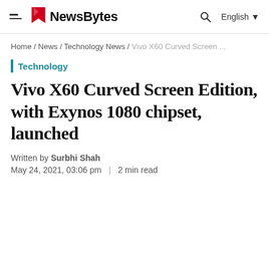NewsBytes | Home / News / Technology News / Vivo X60 Curved Screen ...
Home / News / Technology News / Vivo X60 Curved Screen ...
Technology
Vivo X60 Curved Screen Edition, with Exynos 1080 chipset, launched
Written by Surbhi Shah
May 24, 2021, 03:06 pm | 2 min read